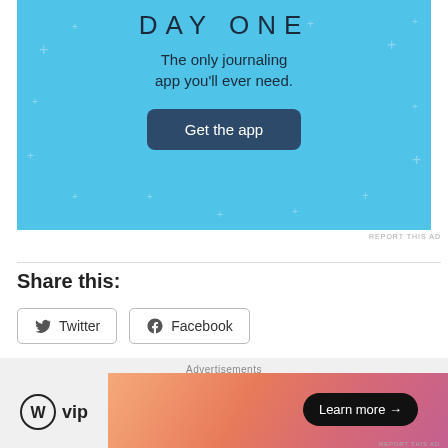[Figure (screenshot): Day One journaling app advertisement banner with light blue background. Shows 'DAY ONE' title text, subtitle 'The only journaling app you'll ever need.' and a dark blue 'Get the app' button with sparkle decorations.]
REPORT THIS AD
Share this:
Twitter
Facebook
Loading...
The Bachelor: Juan Pablo – Episode 7 Recap – In Miami
Advertisements
[Figure (logo): WordPress VIP logo with circle icon and 'vip' text]
Learn more →
REPORT THIS AD